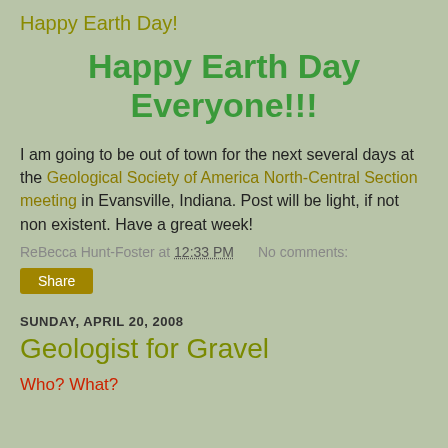Happy Earth Day!
Happy Earth Day Everyone!!!
I am going to be out of town for the next several days at the Geological Society of America North-Central Section meeting in Evansville, Indiana. Post will be light, if not non existent. Have a great week!
ReBecca Hunt-Foster at 12:33 PM   No comments:
Share
SUNDAY, APRIL 20, 2008
Geologist for Gravel
Who? What?